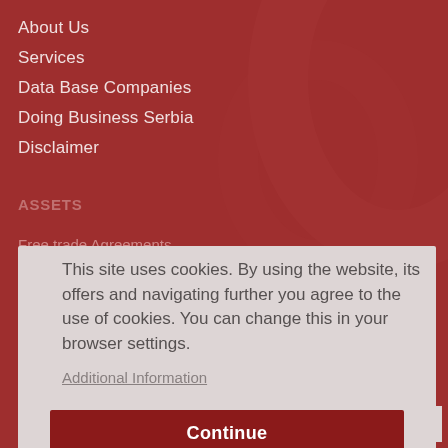About Us
Services
Data Base Companies
Doing Business Serbia
Disclaimer
Assets
Free trade Agreements
Tax system
Human Assets
Offers
This site uses cookies. By using the website, its offers and navigating further you agree to the use of cookies. You can change this in your browser settings.
Additional Information
Continue